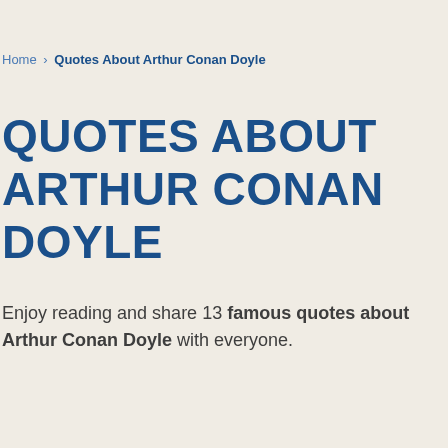Home › Quotes About Arthur Conan Doyle
QUOTES ABOUT ARTHUR CONAN DOYLE
Enjoy reading and share 13 famous quotes about Arthur Conan Doyle with everyone.